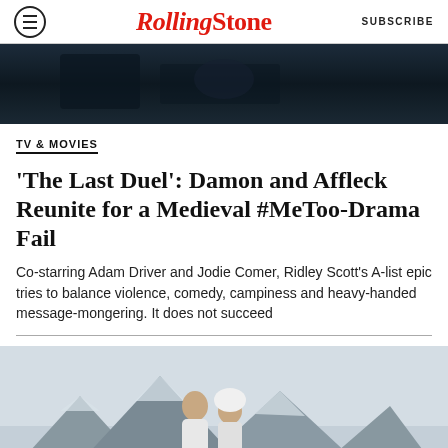Rolling Stone | SUBSCRIBE
[Figure (photo): Dark cinematic top image, appears to be a still from a medieval film]
TV & MOVIES
'The Last Duel': Damon and Affleck Reunite for a Medieval #MeToo-Drama Fail
Co-starring Adam Driver and Jodie Comer, Ridley Scott's A-list epic tries to balance violence, comedy, campiness and heavy-handed message-mongering. It does not succeed
[Figure (photo): Two actors in winter/medieval costume standing in a snowy mountainous landscape. A man in glasses and white sweater and a woman in white fur hat.]